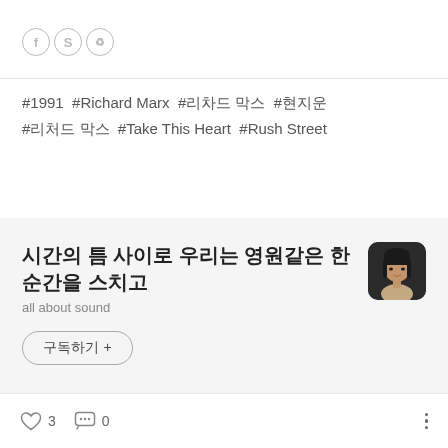[Figure (other): Three circular icons with letters: f, S, and a recycling/creative commons symbol, in light gray outline style]
#1991  #Richard Marx  #리차드 막스  #현지운
#리처드 막스  #Take This Heart  #Rush Street
시간의 틈 사이로 우리는 영원같은 한 순간을 스치고
all about sound
구독하기 +
[Figure (photo): Small square profile photo of a young woman with dark hair and bangs, rounded corners, dark background]
3
0